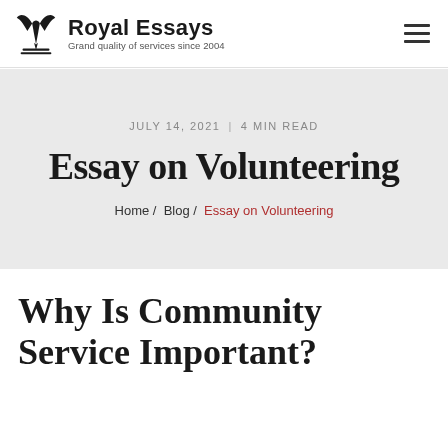Royal Essays — Grand quality of services since 2004
JULY 14, 2021 | 4 MIN READ
Essay on Volunteering
Home / Blog / Essay on Volunteering
Why Is Community Service Important?